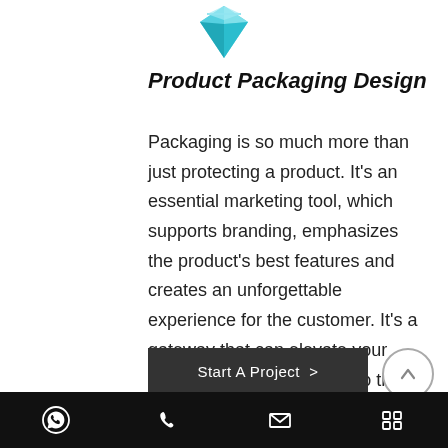[Figure (logo): A stylized diamond/gem icon in teal/blue color above the title]
Product Packaging Design
Packaging is so much more than just protecting a product. It's an essential marketing tool, which supports branding, emphasizes the product's best features and creates an unforgettable experience for the customer. It's a gateway that can elevate your product – and company – to the next level.
[Figure (other): Dark gray button with text 'Start A Project >' and a circular up-arrow button to the right]
WhatsApp, Phone, Email, and Menu icons in a black footer bar